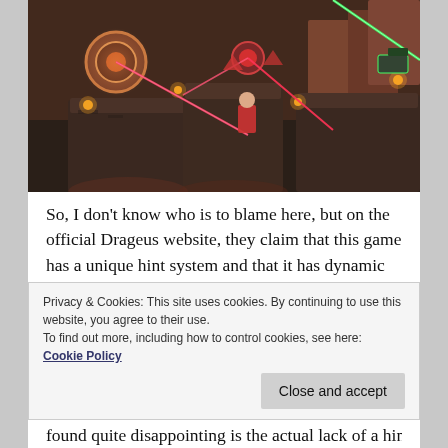[Figure (screenshot): Screenshot of a video game showing a stylized top-down/isometric view of a puzzle game level with laser beams (green and red/pink), glowing circular elements, and rocky platform structures in warm orange-brown tones with ambient lighting effects.]
So, I don't know who is to blame here, but on the official Drageus website, they claim that this game has a unique hint system and that it has dynamic boards.
I'm sorry, but this is a bit of false advertising. Let me begin first about the “dynamic boards”. Since it’s a term that I didn’t find anywhere else, it’s a bit up for whatever
Privacy & Cookies: This site uses cookies. By continuing to use this website, you agree to their use.
To find out more, including how to control cookies, see here: Cookie Policy
found quite disappointing is the actual lack of a hint